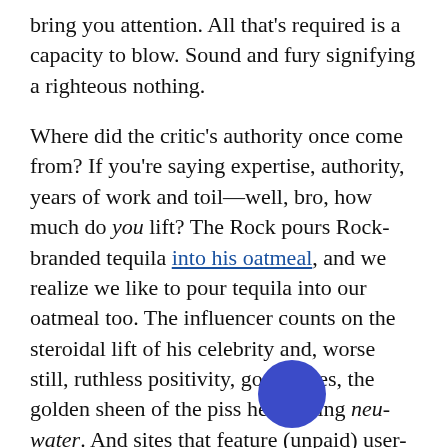bring you attention. All that's required is a capacity to blow. Sound and fury signifying a righteous nothing.

Where did the critic's authority once come from? If you're saying expertise, authority, years of work and toil—well, bro, how much do you lift? The Rock pours Rock-branded tequila into his oatmeal, and we realize we like to pour tequila into our oatmeal too. The influencer counts on the steroidal lift of his celebrity and, worse still, ruthless positivity, good vibes, the golden sheen of the piss he's calling neu-water. And sites that feature (unpaid) user-generated content, unsullied by editorial gatekeepers,